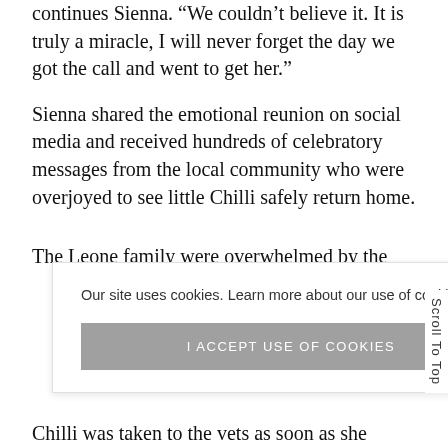continues Sienna. “We couldn’t believe it. It is truly a miracle, I will never forget the day we got the call and went to get her.”
Sienna shared the emotional reunion on social media and received hundreds of celebratory messages from the local community who were overjoyed to see little Chilli safely return home.
The Leone family were overwhelmed by the
ng it as a
t they will
Chilli was taken to the vets as soon as she
Our site uses cookies. Learn more about our use of cookies: cookie policy
I ACCEPT USE OF COOKIES
Scroll To Top